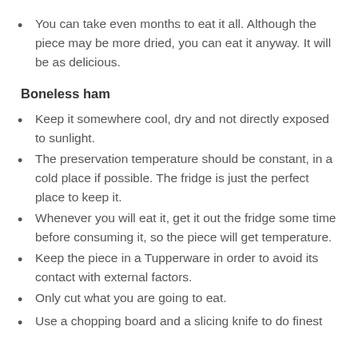You can take even months to eat it all. Although the piece may be more dried, you can eat it anyway. It will be as delicious.
Boneless ham
Keep it somewhere cool, dry and not directly exposed to sunlight.
The preservation temperature should be constant, in a cold place if possible. The fridge is just the perfect place to keep it.
Whenever you will eat it, get it out the fridge some time before consuming it, so the piece will get temperature.
Keep the piece in a Tupperware in order to avoid its contact with external factors.
Only cut what you are going to eat.
Use a chopping board and a slicing knife to do finest